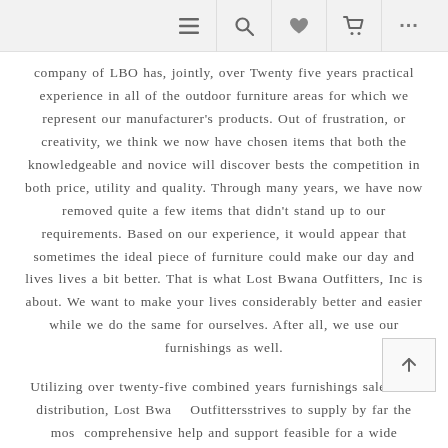≡ 🔍 ♥ 🛒 …
company of LBO has, jointly, over Twenty five years practical experience in all of the outdoor furniture areas for which we represent our manufacturer's products. Out of frustration, or creativity, we think we now have chosen items that both the knowledgeable and novice will discover bests the competition in both price, utility and quality. Through many years, we have now removed quite a few items that didn't stand up to our requirements. Based on our experience, it would appear that sometimes the ideal piece of furniture could make our day and lives lives a bit better. That is what Lost Bwana Outfitters, Inc is about. We want to make your lives considerably better and easier while we do the same for ourselves. After all, we use our furnishings as well.
Utilizing over twenty-five combined years furnishings sales and distribution, Lost Bwana Outfittersstrives to supply by far the most comprehensive help and support feasible for a wide